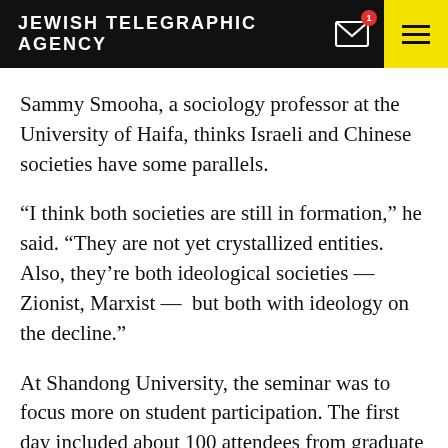JEWISH TELEGRAPHIC AGENCY
Sammy Smooha, a sociology professor at the University of Haifa, thinks Israeli and Chinese societies have some parallels.
“I think both societies are still in formation,” he said. “They are not yet crystallized entities. Also, they’re both ideological societies — Zionist, Marxist —  but both with ideology on the decline.”
At Shandong University, the seminar was to focus more on student participation. The first day included about 100 attendees from graduate programs from Macau to Chengdu.